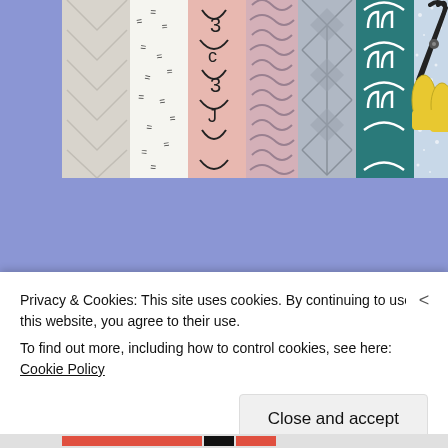[Figure (photo): Rolled fabric bolts in various patterns (chevron, abstract marks, pink swirl, wave, diamond/argyle, teal arch pattern) with yellow-handled scissors on the right]
[Figure (photo): Green pincushion with pins on a wooden surface, with scattered yellow-headed pins and a brush, labeled Kwik Klip]
Privacy & Cookies: This site uses cookies. By continuing to use this website, you agree to their use.
To find out more, including how to control cookies, see here: Cookie Policy
Close and accept